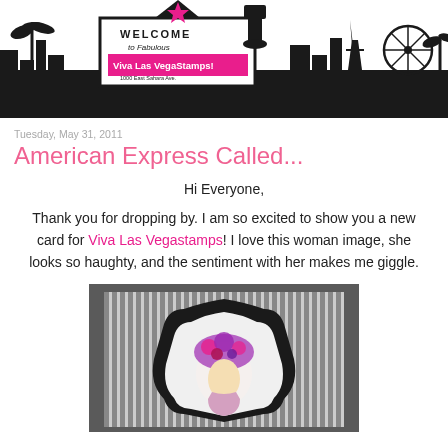[Figure (illustration): Viva Las Vegas Stamps blog header banner with Welcome to Fabulous Las Vegas sign, city silhouette, Eiffel Tower, Ferris wheel, palm trees, black and pink ink stamp icon]
Tuesday, May 31, 2011
American Express Called...
Hi Everyone,
Thank you for dropping by. I am so excited to show you a new card for Viva Las Vegastamps! I love this woman image, she looks so haughty, and the sentiment with her makes me giggle.
[Figure (photo): Handmade greeting card with black and white vertical stripes background, black ornate frame, and colorful woman image with pink and purple floral hat]